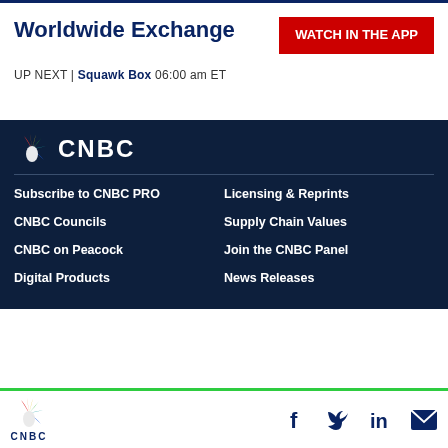Worldwide Exchange
WATCH IN THE APP
UP NEXT | Squawk Box 06:00 am ET
[Figure (logo): CNBC logo with peacock icon in white on dark navy background]
Subscribe to CNBC PRO
Licensing & Reprints
CNBC Councils
Supply Chain Values
CNBC on Peacock
Join the CNBC Panel
Digital Products
News Releases
CNBC logo with social icons: Facebook, Twitter, LinkedIn, Email